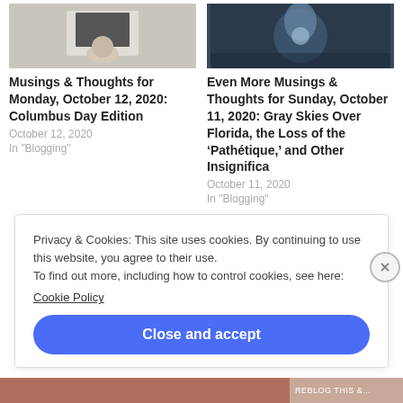[Figure (photo): Person sitting at a desk with a computer, viewed from behind, thinking or stressed]
Musings & Thoughts for Monday, October 12, 2020: Columbus Day Edition
October 12, 2020
In "Blogging"
[Figure (photo): Water splash or droplet on a dark background]
Even More Musings & Thoughts for Sunday, October 11, 2020: Gray Skies Over Florida, the Loss of the ‘Pathétique,’ and Other Insignifica
October 11, 2020
In "Blogging"
Privacy & Cookies: This site uses cookies. By continuing to use this website, you agree to their use.
To find out more, including how to control cookies, see here: Cookie Policy
Close and accept